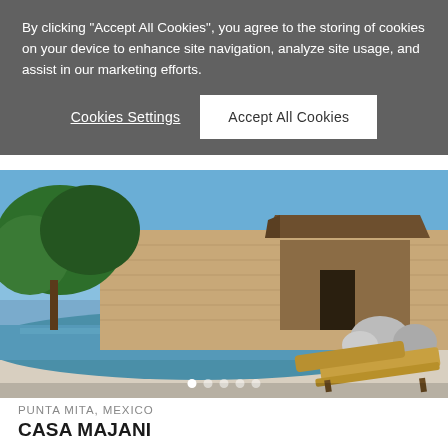By clicking "Accept All Cookies", you agree to the storing of cookies on your device to enhance site navigation, analyze site usage, and assist in our marketing efforts.
Cookies Settings
Accept All Cookies
[Figure (photo): Luxury resort pool area with lounge chairs, stone walls, thatched roof bungalow, and tropical trees under a blue sky at Punta Mita, Mexico]
PUNTA MITA, MEXICO
CASA MAJANI
Beach House | 1 accommodation
From $6000 / Night | 1 night min.